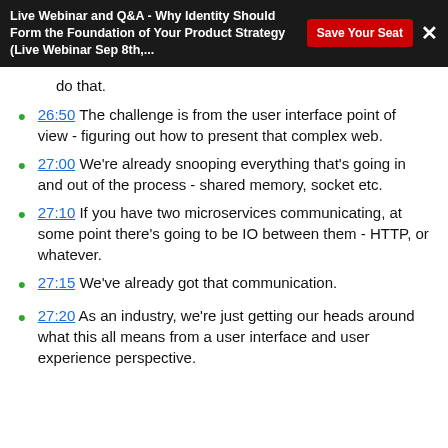Live Webinar and Q&A - Why Identity Should Form the Foundation of Your Product Strategy (Live Webinar Sep 8th,...
do that.
26:50 The challenge is from the user interface point of view - figuring out how to present that complex web.
27:00 We're already snooping everything that's going in and out of the process - shared memory, socket etc.
27:10 If you have two microservices communicating, at some point there's going to be IO between them - HTTP, or whatever.
27:15 We've already got that communication.
27:20 As an industry, we're just getting our heads around what this all means from a user interface and user experience perspective.